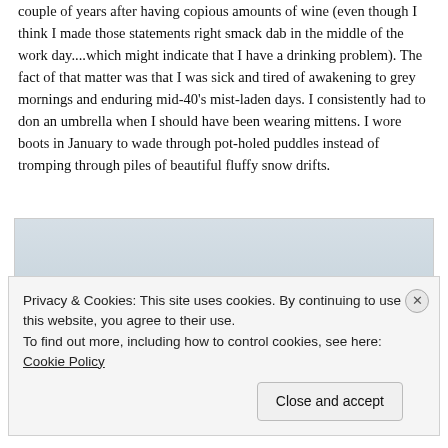couple of years after having copious amounts of wine (even though I think I made those statements right smack dab in the middle of the work day....which might indicate that I have a drinking problem).  The fact of that matter was that I was sick and tired of awakening to grey mornings and enduring mid-40's mist-laden days.  I consistently had to don an umbrella when I should have been wearing mittens.  I wore boots in January to wade through pot-holed puddles instead of tromping through piles of beautiful fluffy snow drifts.
[Figure (photo): Winter scene photograph showing a snowy landscape with a small dark plant or shrub visible in the lower right corner against a pale grey-blue sky and snow-covered ground.]
Privacy & Cookies: This site uses cookies. By continuing to use this website, you agree to their use.
To find out more, including how to control cookies, see here: Cookie Policy